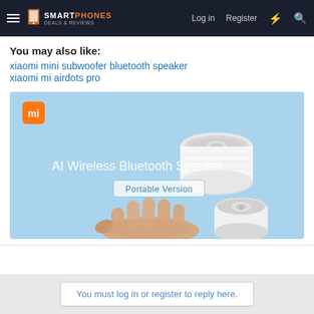SMARTPHONES — Log in | Register
You may also like:
xiaomi mini subwoofer bluetooth speaker
xiaomi mi airdots pro
[Figure (photo): Xiaomi AI Wireless Bluetooth Speaker Portable Version advertisement — product image showing two white cylindrical mini speakers floating above an open human hand against a light blue background, with Xiaomi mi logo (orange square with white 'mi') in the top left corner.]
You must log in or register to reply here.